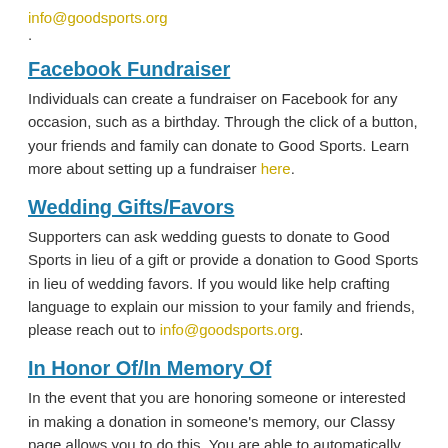info@goodsports.org.
Facebook Fundraiser
Individuals can create a fundraiser on Facebook for any occasion, such as a birthday. Through the click of a button, your friends and family can donate to Good Sports. Learn more about setting up a fundraiser here.
Wedding Gifts/Favors
Supporters can ask wedding guests to donate to Good Sports in lieu of a gift or provide a donation to Good Sports in lieu of wedding favors. If you would like help crafting language to explain our mission to your family and friends, please reach out to info@goodsports.org.
In Honor Of/In Memory Of
In the event that you are honoring someone or interested in making a donation in someone's memory, our Classy page allows you to do this. You are able to automatically notify someone about this gift being made in their honor or in